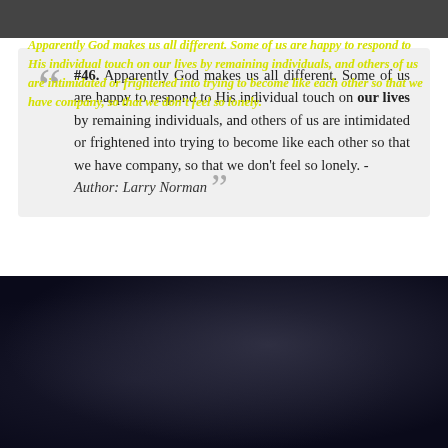[Figure (photo): Dark photograph at top of page, partially visible]
““ #46. Apparently God makes us all different. Some of us are happy to respond to His individual touch on our lives by remaining individuals, and others of us are intimidated or frightened into trying to become like each other so that we have company, so that we don't feel so lonely. - Author: Larry Norman ””
[Figure (photo): Dark night sky background with scattered light bokeh effect]
Apparently God makes us all different. Some of us are happy to respond to His individual touch on our lives by remaining individuals, and others of us are intimidated or frightened into trying to become like each other so that we have company, so that we don't feel so lonely.